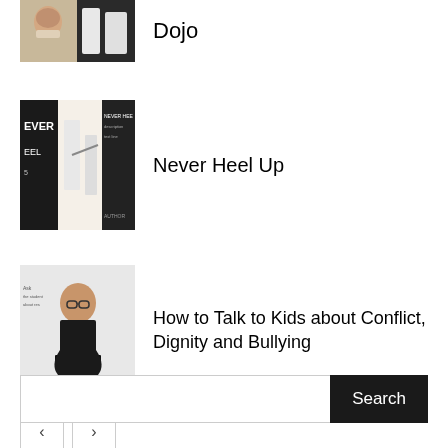[Figure (photo): Partial cropped thumbnail showing two people, one older man with gray beard smiling and another image of martial arts practitioners]
Dojo
[Figure (photo): Book cover thumbnail for 'Never Heel Up' showing martial artists in white gi uniforms on dark background]
Never Heel Up
[Figure (photo): Book cover thumbnail showing a woman with glasses in black outfit with arms crossed on light background]
How to Talk to Kids about Conflict, Dignity and Bullying
< >
Search